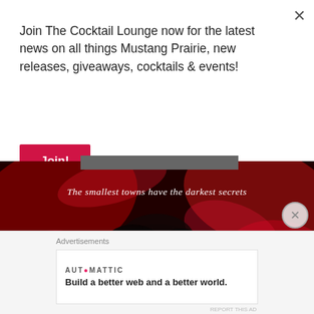Join The Cocktail Lounge now for the latest news on all things Mustang Prairie, new releases, giveaways, cocktails & events!
Join!
[Figure (photo): Woman lying on red silk fabric, with text overlay: 'The smallest towns have the darkest secrets']
Advertisements
AUTOMATTIC
Build a better web and a better world.